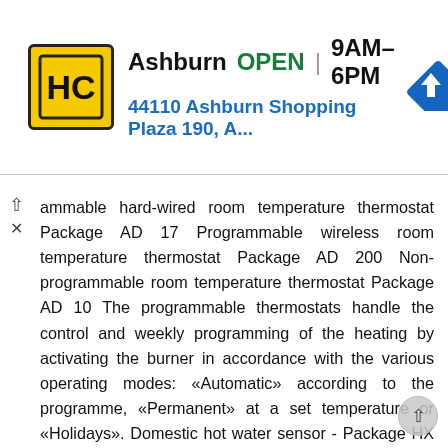[Figure (other): Advertisement banner: HC logo (yellow/black), Ashburn OPEN 9AM-6PM, 44110 Ashburn Shopping Plaza 190, A... with navigation arrow icon]
ammable hard-wired room temperature thermostat Package AD 17 Programmable wireless room temperature thermostat Package AD 200 Non-programmable room temperature thermostat Package AD 10 The programmable thermostats handle the control and weekly programming of the heating by activating the burner in accordance with the various operating modes: «Automatic» according to the programme, «Permanent» at a set temperature or «Holidays». Domestic hot water sensor - Package HX 52 The domestic hot water sensor is used to apply priority regulation to DHW production by an independent calorifier. Outside sensor - Package HX 1 The outside sensor can be used alone or in combination with the room temperature thermostats. MS_Q0005 The «wireless» versions are delivered with a receiver box to be affixed to the wall close to the boiler. The non-programmable thermostat is used to regulate the room temperature according to the instruction given by